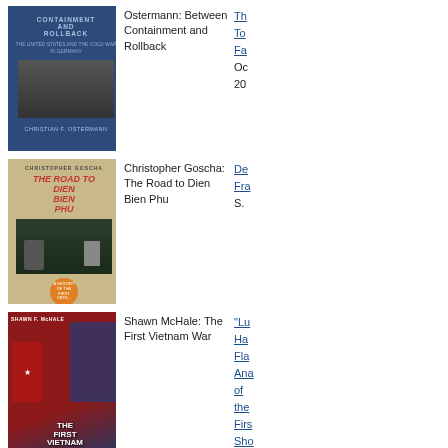[Figure (photo): Book cover: Between Containment and Rollback by Christian F. Ostermann]
Ostermann: Between Containment and Rollback
The... Too... Far... Oc... 20...
[Figure (photo): Book cover: The Road to Dien Bien Phu by Christopher Goscha]
Christopher Goscha: The Road to Dien Bien Phu
Del... Fra... S.
[Figure (photo): Book cover: The First Vietnam War by Shawn F. McHale]
Shawn McHale: The First Vietnam War
“Lu... Har... Fla... Ana... of the... Firs... Sho... Fire in the JFK...